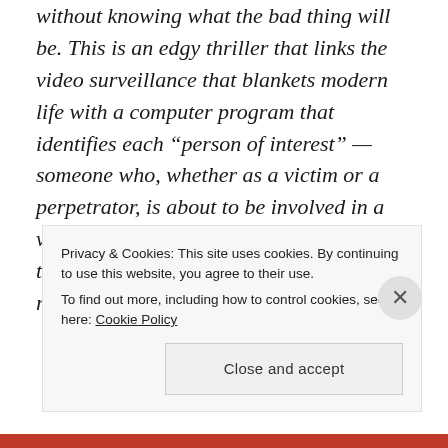without knowing what the bad thing will be. This is an edgy thriller that links the video surveillance that blankets modern life with a computer program that identifies each "person of interest" — someone who, whether as a victim or a perpetrator, is about to be involved in a violent crime. Michael Emerson (Lost) is the obscure man with the software, and he recruits
Privacy & Cookies: This site uses cookies. By continuing to use this website, you agree to their use.
To find out more, including how to control cookies, see here: Cookie Policy
Close and accept